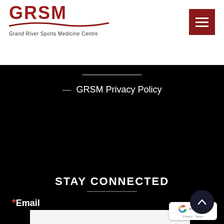[Figure (logo): GRSM Grand River Sports Medicine Centre logo with red text and swoosh]
[Figure (other): Red hamburger menu button in top right corner]
GRSM Privacy Policy
STAY CONNECTED
[Figure (infographic): Social media icons: Facebook, Twitter, Instagram, YouTube, LinkedIn]
*Email